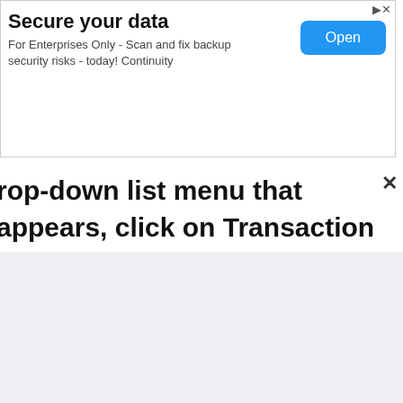[Figure (screenshot): Advertisement banner: 'Secure your data' for Enterprises Only with an Open button]
rop-down list menu that appears, click on Transaction Cancellation.' You'll be redirected to a new page on the portal. Here, correctly enter your CFMS transaction ID and department transaction ID. Click on 'Submit' button to complete the process.